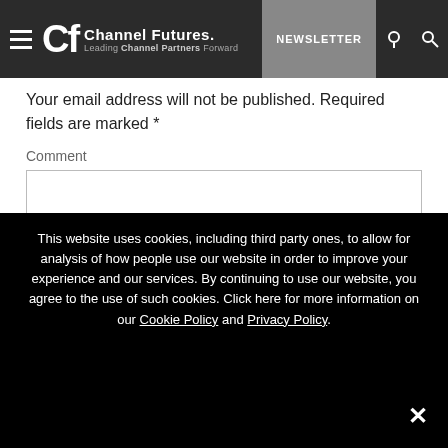Channel Futures — Leading Channel Partners Forward. NEWSLETTER
Your email address will not be published. Required fields are marked *
Comment
This website uses cookies, including third party ones, to allow for analysis of how people use our website in order to improve your experience and our services. By continuing to use our website, you agree to the use of such cookies. Click here for more information on our Cookie Policy and Privacy Policy.